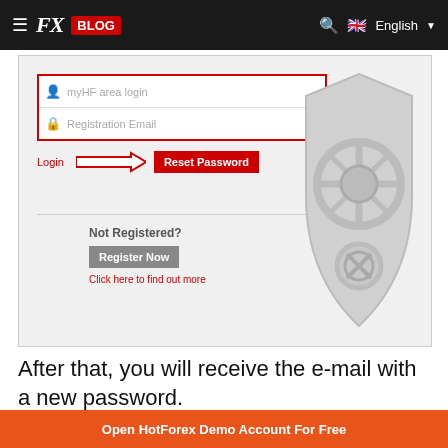[Figure (screenshot): FX Blog website navigation bar with hamburger menu, FX BLOG logo, search icon, and English language selector]
[Figure (screenshot): HotForex password reset form with myHF area login field, Registration Email field, Login link, arrow pointing to Reset Password button; Not Registered section with Register Now button and Click here to find out more link; decorative shield graphic on the right]
After that, you will receive the e-mail with a new password.
Open HotForex Demo Account For Free